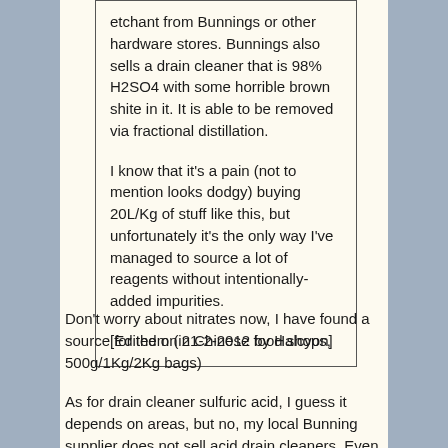etchant from Bunnings or other hardware stores. Bunnings also sells a drain cleaner that is 98% H2SO4 with some horrible brown shite in it. It is able to be removed via fractional distillation.

I know that it's a pain (not to mention looks dodgy) buying 20L/Kg of stuff like this, but unfortunately it's the only way I've managed to source a lot of reagents without intentionally-added impurities.

[Edited on 21-2-2012 by Halcyon]
Don't worry about nitrates now, I have found a source for them (in Chinese food shops, 500g/1Kg/2Kg bags)
As for drain cleaner sulfuric acid, I guess it depends on areas, but no, my local Bunning supplier does not sell acid drain cleaners. Even the sodium hydroxide cleaners deliberately has aluminium and other impurities that stains the water a sickly brown colour. There also seems to be more enzyme drain cleaners than ever.